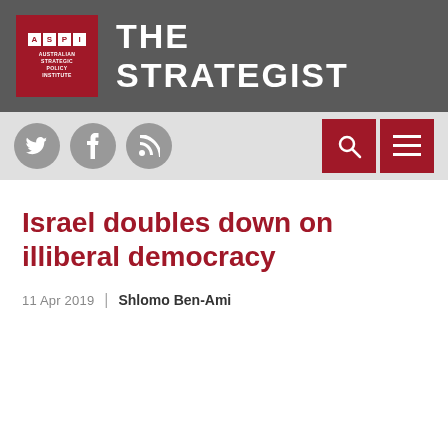THE STRATEGIST
Israel doubles down on illiberal democracy
11 Apr 2019  |  Shlomo Ben-Ami